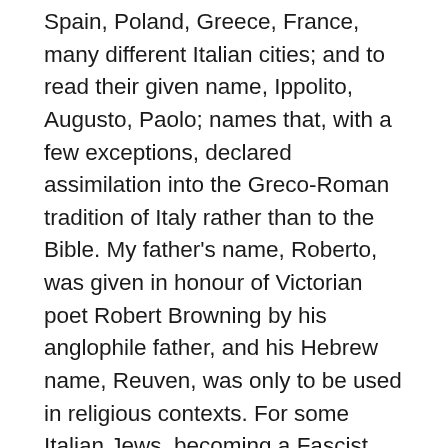Spain, Poland, Greece, France, many different Italian cities; and to read their given name, Ippolito, Augusto, Paolo; names that, with a few exceptions, declared assimilation into the Greco-Roman tradition of Italy rather than to the Bible. My father's name, Roberto, was given in honour of Victorian poet Robert Browning by his anglophile father, and his Hebrew name, Reuven, was only to be used in religious contexts. For some Italian Jews, becoming a Fascist was the logical conclusion of a patriotism aimed at erasing any doubt concerning their Italianness. To be honest, my grandfather did not wear the Fascist uniform out of ideological conviction; he became a member of the party to support his family and to make his professional life as a lawyer a bit easier.. A th i it f It li l M di i h